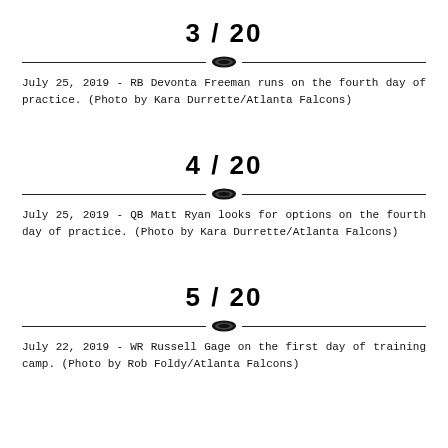3 / 20
July 25, 2019 - RB Devonta Freeman runs on the fourth day of practice. (Photo by Kara Durrette/Atlanta Falcons)
4 / 20
July 25, 2019 - QB Matt Ryan looks for options on the fourth day of practice. (Photo by Kara Durrette/Atlanta Falcons)
5 / 20
July 22, 2019 - WR Russell Gage on the first day of training camp. (Photo by Rob Foldy/Atlanta Falcons)